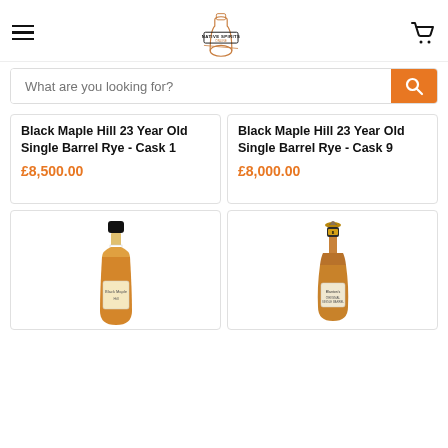Native Spirits Online
What are you looking for?
Black Maple Hill 23 Year Old Single Barrel Rye - Cask 1
£8,500.00
Black Maple Hill 23 Year Old Single Barrel Rye - Cask 9
£8,000.00
[Figure (photo): Bottle of Black Maple Hill whiskey with orange/amber liquid and black cap]
[Figure (photo): Bottle of Blanton's bourbon with horse and jockey figurine on cap]